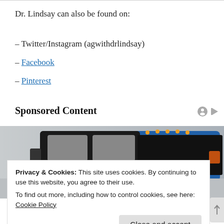Dr. Lindsay can also be found on:
– Twitter/Instagram (agwithdrlindsay)
– Facebook
– Pinterest
Sponsored Content
[Figure (photo): Blue pickup truck with black tonneau cover, partial view showing cab roof and side mirrors against gray background]
Privacy & Cookies: This site uses cookies. By continuing to use this website, you agree to their use.
To find out more, including how to control cookies, see here:
Cookie Policy
Close and accept